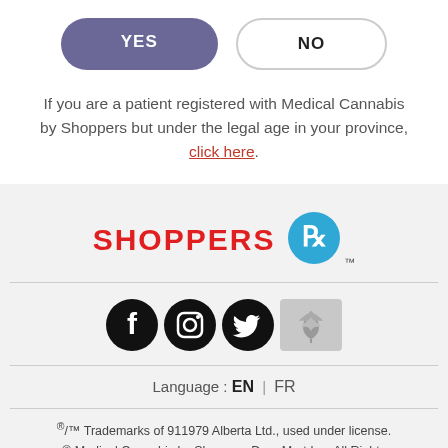[Figure (other): YES button (purple/mauve pill-shaped button) and NO button (white pill-shaped button with border) side by side]
If you are a patient registered with Medical Cannabis by Shoppers but under the legal age in your province, click here.
[Figure (logo): Shoppers Drug Mart logo: red bold text SHOPPERS with a blue mortar and pestle icon]
[Figure (other): Social media icons: Facebook, Instagram, Twitter (black circles), and a grey cannabis leaf icon box]
Language : EN | FR
®/™ Trademarks of 911979 Alberta Ltd., used under license. © Medical Cannabis by Shoppers Drug Mart Inc. All Rights